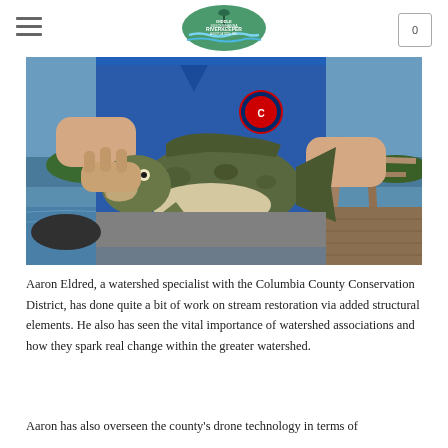Middle Susquehanna Riverkeeper Association, Inc. — Navigation header with logo, hamburger menu, and cart icon
[Figure (photo): A person in a blue Chicago Cubs shirt holding up a large largemouth bass fish near a dock on a lake or river. Water and trees visible in background.]
Aaron Eldred, a watershed specialist with the Columbia County Conservation District, has done quite a bit of work on stream restoration via added structural elements. He also has seen the vital importance of watershed associations and how they spark real change within the greater watershed.
Aaron has also overseen the county's drone technology in terms of